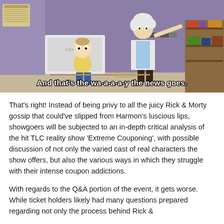[Figure (screenshot): Animated screenshot from Rick and Morty showing Morty (short, yellow shirt, blue jeans) and Rick (tall, white lab coat, dark pants) in a garage/laundry room setting. Subtitle text reads: And that's the wa-a-a-a-y the news goes.]
That's right! Instead of being privy to all the juicy Rick & Morty gossip that could've slipped from Harmon's luscious lips, showgoers will be subjected to an in-depth critical analysis of the hit TLC reality show 'Extreme Couponing', with possible discussion of not only the varied cast of real characters the show offers, but also the various ways in which they struggle with their intense coupon addictions.
With regards to the Q&A portion of the event, it gets worse. While ticket holders likely had many questions prepared regarding not only the process behind Rick &